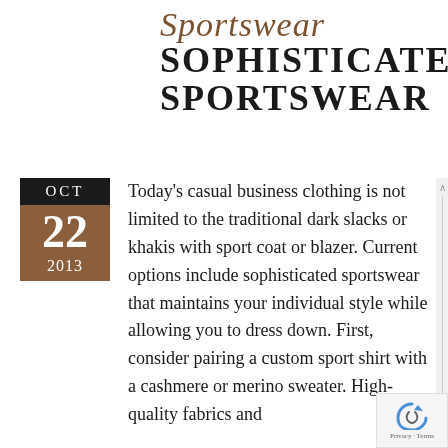Sportswear SOPHISTICATED SPORTSWEAR
[Figure (other): Date badge showing OCT 22 2013 with black top bar and brown bottom section]
Today's casual business clothing is not limited to the traditional dark slacks or khakis with sport coat or blazer. Current options include sophisticated sportswear that maintains your individual style while allowing you to dress down. First, consider pairing a custom sport shirt with a cashmere or merino sweater. High-quality fabrics and